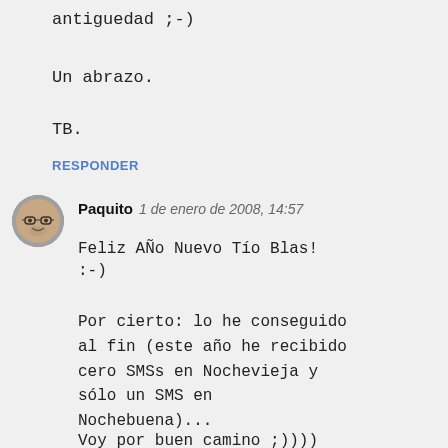antiguedad ;-)
Un abrazo.
TB.
RESPONDER
[Figure (illustration): Avatar illustration of a bald man with glasses, circular profile photo]
Paquito  1 de enero de 2008, 14:57
Feliz AÑo Nuevo Tío Blas!
:-)
Por cierto: lo he conseguido al fin (este año he recibido cero SMSs en Nochevieja y sólo un SMS en Nochebuena)...
Voy por buen camino ;))))